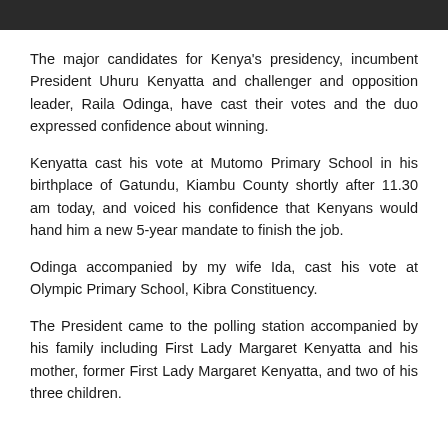[Figure (photo): Partial photo strip at the top of the page, showing a cropped news photograph]
The major candidates for Kenya's presidency, incumbent President Uhuru Kenyatta and challenger and opposition leader, Raila Odinga, have cast their votes and the duo expressed confidence about winning.
Kenyatta cast his vote at Mutomo Primary School in his birthplace of Gatundu, Kiambu County shortly after 11.30 am today, and voiced his confidence that Kenyans would hand him a new 5-year mandate to finish the job.
Odinga accompanied by my wife Ida, cast his vote at Olympic Primary School, Kibra Constituency.
The President came to the polling station accompanied by his family including First Lady Margaret Kenyatta and his mother, former First Lady Margaret Kenyatta, and two of his three children.